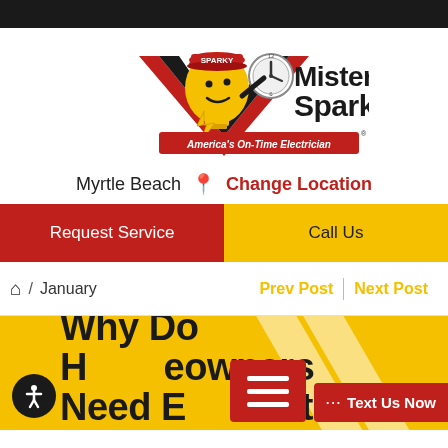[Figure (logo): Mister Sparky - America's On-Time Electrician logo with cartoon light bulb mascot wearing red cap, holding a clock, with red chevron/lightning bolt design]
Myrtle Beach  📍  Change Location
Request Service
Call Us
🏠 / January
Prev Post  |  Next Post
Why Do Homeowners Need Electrician